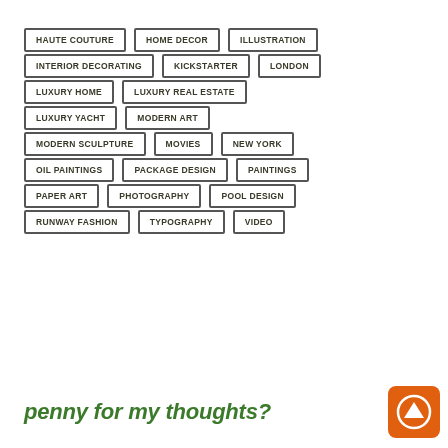HAUTE COUTURE
HOME DECOR
ILLUSTRATION
INTERIOR DECORATING
KICKSTARTER
LONDON
LUXURY HOME
LUXURY REAL ESTATE
LUXURY YACHT
MODERN ART
MODERN SCULPTURE
MOVIES
NEW YORK
OIL PAINTINGS
PACKAGE DESIGN
PAINTINGS
PAPER ART
PHOTOGRAPHY
POOL DESIGN
RUNWAY FASHION
TYPOGRAPHY
VIDEO
penny for my thoughts?